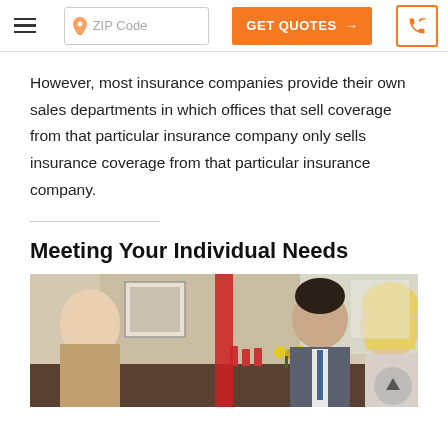ZIP Code | GET QUOTES → | [phone icon]
However, most insurance companies provide their own sales departments in which offices that sell coverage from that particular insurance company only sells insurance coverage from that particular insurance company.
Meeting Your Individual Needs
[Figure (photo): Three people sitting at a table in a meeting or consultation — a man in a suit in the center and a blonde woman on the right, set against a brick wall background with colorful items on the table.]